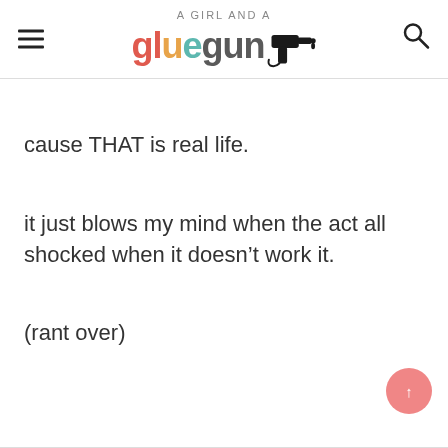A GIRL AND A gluegun
cause THAT is real life.
it just blows my mind when the act all shocked when it doesn’t work it.
(rant over)